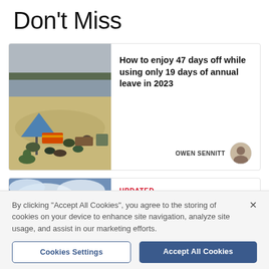Don't Miss
[Figure (photo): Beach scene with many people sitting on sand with umbrellas and chairs]
How to enjoy 47 days off while using only 19 days of annual leave in 2023
OWEN SENNITT
[Figure (photo): Green rural countryside field with cloudy sky]
UPDATED
Woman fined more than £550 after village fly-tipping
By clicking "Accept All Cookies", you agree to the storing of cookies on your device to enhance site navigation, analyze site usage, and assist in our marketing efforts.
Cookies Settings
Accept All Cookies